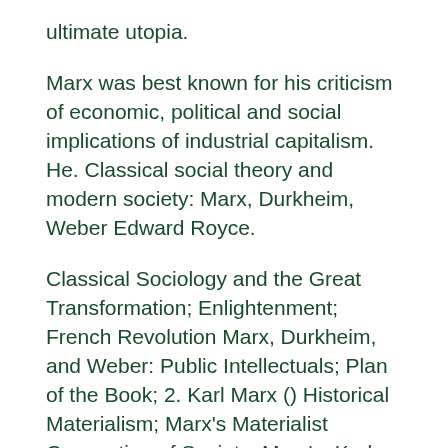ultimate utopia.
Marx was best known for his criticism of economic, political and social implications of industrial capitalism. He. Classical social theory and modern society: Marx, Durkheim, Weber Edward Royce.
Classical Sociology and the Great Transformation; Enlightenment; French Revolution Marx, Durkheim, and Weber: Public Intellectuals; Plan of the Book; 2. Karl Marx () Historical Materialism; Marx's Materialist Conception of Society; Marx's. Karl Marx and his theories, Background, The Russian Revolution, SOSE: History, Year 9, NSW Introduction: Karl Marx's life The German philosopher Karl Marx became one of the most influential thinkers of the 20th century.
Karl Marx was born in in Germany. He studied law and philosophy at university in Germany. Karl Marx...